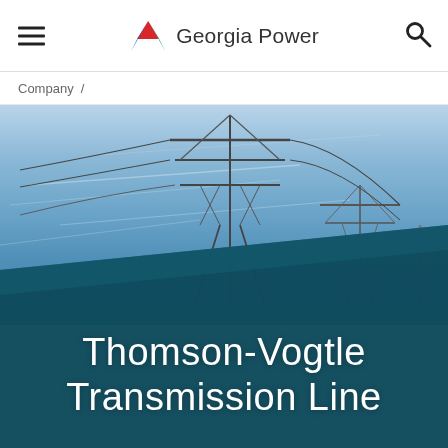Georgia Power — navigation header with hamburger menu and search icon
Company /
[Figure (photo): Photograph of high-voltage electrical transmission towers (lattice steel pylons) against a blue sky with power lines. The lower portion of the image has a dark teal diagonal overlay with the text 'Thomson-Vogtle Transmission Line' in large white letters.]
Thomson-Vogtle Transmission Line